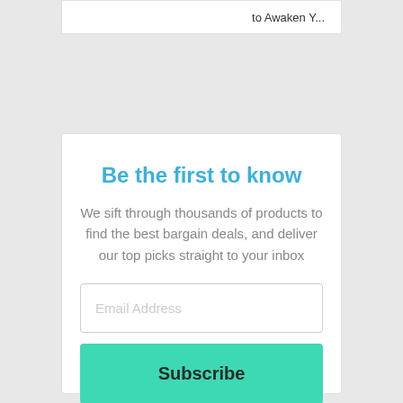to Awaken Y...
Be the first to know
We sift through thousands of products to find the best bargain deals, and deliver our top picks straight to your inbox
Email Address
Subscribe